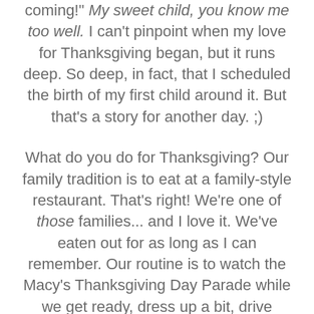coming!" My sweet child, you know me too well. I can't pinpoint when my love for Thanksgiving began, but it runs deep. So deep, in fact, that I scheduled the birth of my first child around it. But that's a story for another day. ;)
What do you do for Thanksgiving? Our family tradition is to eat at a family-style restaurant. That's right! We're one of those families... and I love it. We've eaten out for as long as I can remember. Our routine is to watch the Macy's Thanksgiving Day Parade while we get ready, dress up a bit, drive through the countryside counting horse and buggies, go out to dinner (no clean up!), and go